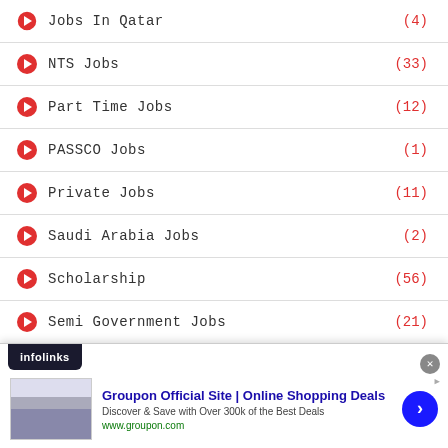Jobs In Qatar (4)
NTS Jobs (33)
Part Time Jobs (12)
PASSCO Jobs (1)
Private Jobs (11)
Saudi Arabia Jobs (2)
Scholarship (56)
Semi Government Jobs (21)
SNGPL Jobs (2)
Teaching Jobs (40)
[Figure (screenshot): Infolinks advertisement banner for Groupon Official Site showing online shopping deals with images and a navigation arrow button]